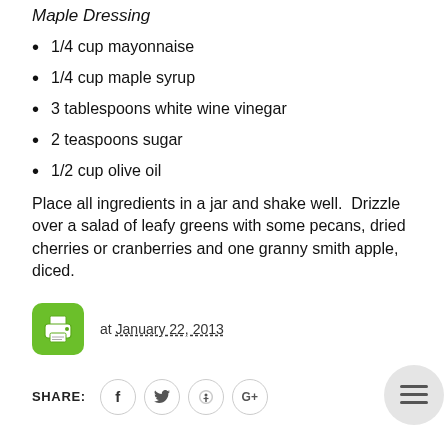Maple Dressing
1/4 cup mayonnaise
1/4 cup maple syrup
3 tablespoons white wine vinegar
2 teaspoons sugar
1/2 cup olive oil
Place all ingredients in a jar and shake well.  Drizzle over a salad of leafy greens with some pecans, dried cherries or cranberries and one granny smith apple, diced.
[Figure (illustration): Green printer icon button]
at January 22, 2013
SHARE: [Facebook] [Twitter] [Pinterest] [Google+]
Labels: DRESSINGS AND SAUCES